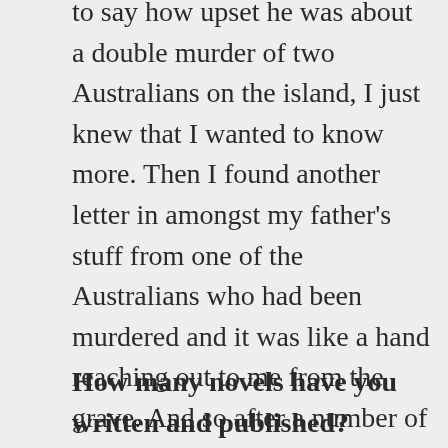to say how upset he was about a double murder of two Australians on the island, I just knew that I wanted to know more. Then I found another letter in amongst my father's stuff from one of the Australians who had been murdered and it was like a hand reaching out to me from the grave. And so after a number of months of research, I wrote and published my historical fiction novel inspired by the events on the island called Climbing the Coconut Tree in 2016. I knew then, that I had found a passion for writing.
How many novels have you written and published?